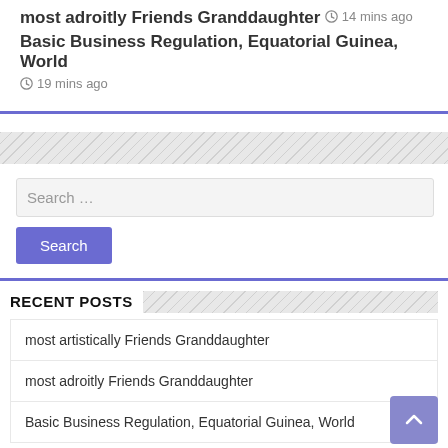most adroitly Friends Granddaughter
14 mins ago
Basic Business Regulation, Equatorial Guinea, World
19 mins ago
19 mins ago
Search …
Search
RECENT POSTS
most artistically Friends Granddaughter
most adroitly Friends Granddaughter
Basic Business Regulation, Equatorial Guinea, World